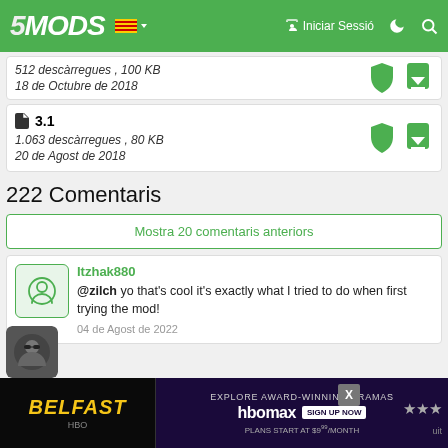5MODS – Iniciar Sessió
512 descàrregues , 100 KB
18 de Octubre de 2018
3.1
1.063 descàrregues , 80 KB
20 de Agost de 2018
222 Comentaris
Mostra 20 comentaris anteriors
Itzhak880
@zilch yo that's cool it's exactly what I tried to do when first trying the mod!
04 de Agost de 2022
[Figure (screenshot): Belfast HBO Max advertisement banner at bottom of page]